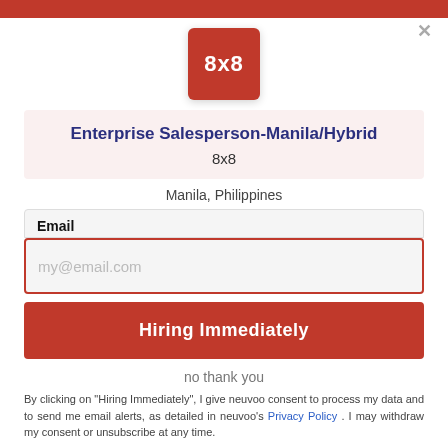[Figure (logo): 8x8 company logo — white text '8x8' on red square background]
Enterprise Salesperson-Manila/Hybrid
8x8
Manila, Philippines
Email
my@email.com
Hiring Immediately
no thank you
By clicking on "Hiring Immediately", I give neuvoo consent to process my data and to send me email alerts, as detailed in neuvoo's Privacy Policy . I may withdraw my consent or unsubscribe at any time.